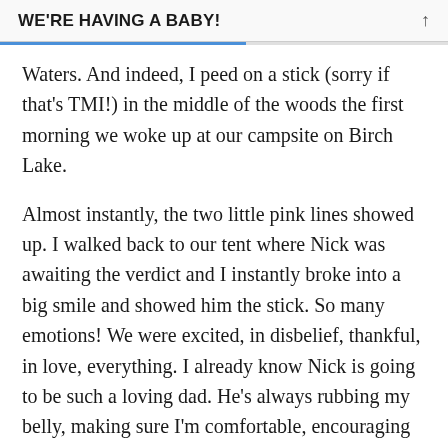WE'RE HAVING A BABY!
Waters. And indeed, I peed on a stick (sorry if that's TMI!) in the middle of the woods the first morning we woke up at our campsite on Birch Lake.
Almost instantly, the two little pink lines showed up. I walked back to our tent where Nick was awaiting the verdict and I instantly broke into a big smile and showed him the stick. So many emotions! We were excited, in disbelief, thankful, in love, everything. I already know Nick is going to be such a loving dad. He's always rubbing my belly, making sure I'm comfortable, encouraging